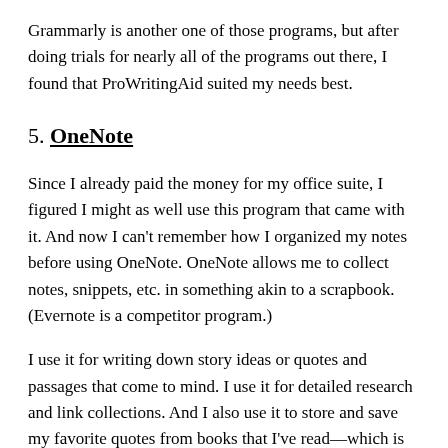Grammarly is another one of those programs, but after doing trials for nearly all of the programs out there, I found that ProWritingAid suited my needs best.
5. OneNote
Since I already paid the money for my office suite, I figured I might as well use this program that came with it. And now I can’t remember how I organized my notes before using OneNote. OneNote allows me to collect notes, snippets, etc. in something akin to a scrapbook. (Evernote is a competitor program.)
I use it for writing down story ideas or quotes and passages that come to mind. I use it for detailed research and link collections. And I also use it to store and save my favorite quotes from books that I’ve read—which is extremely useful because the notebooks are searchable. So it’s easy to find a note again by entering a search term.